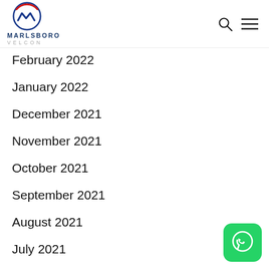Marlsboro Velcon logo with search and menu icons
February 2022
January 2022
December 2021
November 2021
October 2021
September 2021
August 2021
July 2021
[Figure (logo): WhatsApp icon button, green rounded square with white phone/chat icon]